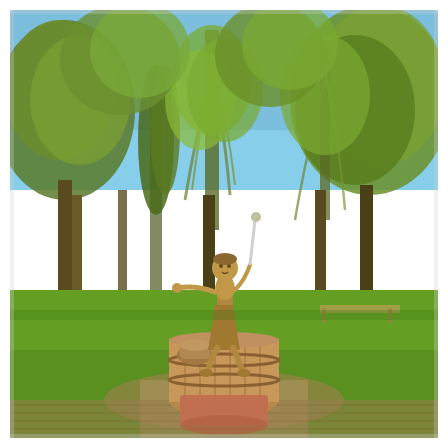[Figure (photo): Outdoor park scene with large green willow and deciduous trees under a blue sky. In the center foreground stands a bronze sculpture of a stylized female figure seated on a barrel or cylindrical pedestal, arms outstretched, holding a staff or wand. The park has a well-manicured green lawn, stone or brick paving, and additional trees and benches visible in the background.]